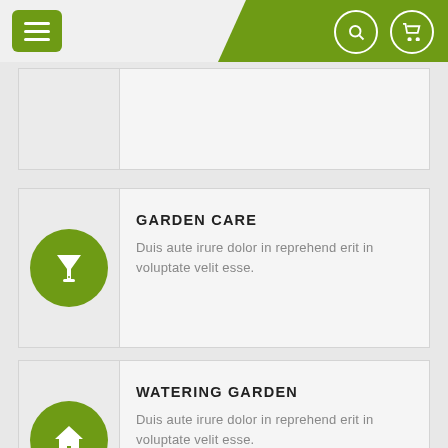[Figure (screenshot): Navigation bar with green hamburger menu button on left, green angled background on right with search and cart icons]
[Figure (infographic): Garden Care card with green circle icon containing martini glass symbol]
GARDEN CARE
Duis aute irure dolor in reprehend erit in voluptate velit esse.
[Figure (infographic): Watering Garden card with green circle icon containing house symbol]
WATERING GARDEN
Duis aute irure dolor in reprehend erit in voluptate velit esse.